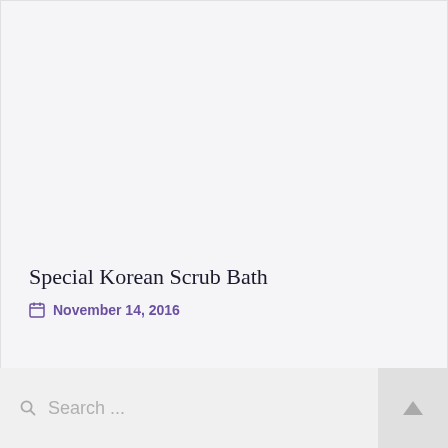Special Korean Scrub Bath
November 14, 2016
Search ...